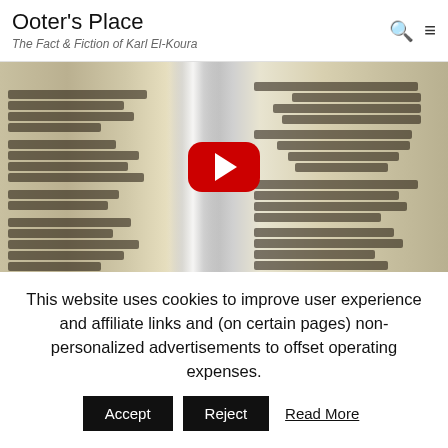Ooter's Place — The Fact & Fiction of Karl El-Koura
[Figure (screenshot): A YouTube video thumbnail showing an open book with blurred text pages. A red YouTube play button is overlaid in the center.]
This website uses cookies to improve user experience and affiliate links and (on certain pages) non-personalized advertisements to offset operating expenses.
Accept   Reject   Read More